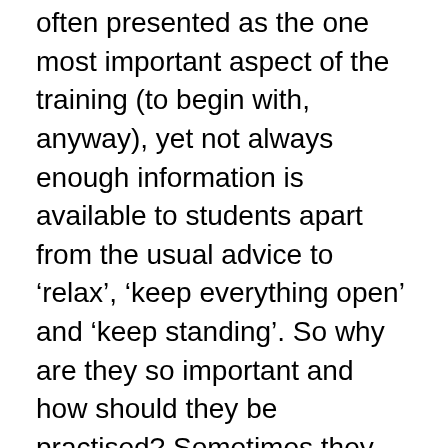often presented as the one most important aspect of the training (to begin with, anyway), yet not always enough information is available to students apart from the usual advice to ‘relax’, ‘keep everything open’ and ‘keep standing’. So why are they so important and how should they be practised? Sometimes they are presented as a form of standing meditation, sometimes as an isometric standing exercise, sometimes even as a character-building exercise! Is there a difference in training for those interested in martial arts and those interested in health only?